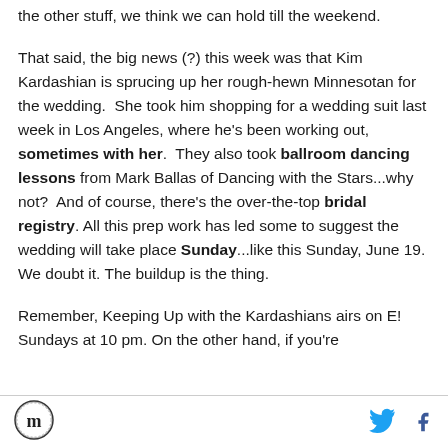the other stuff, we think we can hold till the weekend.
That said, the big news (?) this week was that Kim Kardashian is sprucing up her rough-hewn Minnesotan for the wedding.  She took him shopping for a wedding suit last week in Los Angeles, where he's been working out, sometimes with her.  They also took ballroom dancing lessons from Mark Ballas of Dancing with the Stars...why not?  And of course, there's the over-the-top bridal registry. All this prep work has led some to suggest the wedding will take place Sunday...like this Sunday, June 19.  We doubt it. The buildup is the thing.
Remember, Keeping Up with the Kardashians airs on E! Sundays at 10 pm. On the other hand, if you're
[Figure (logo): Circular logo with stylized letter M inside, black and white]